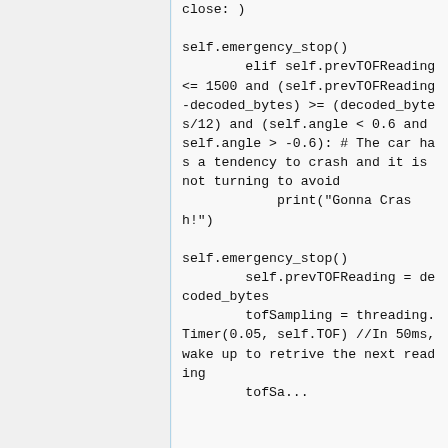self.emergency_stop()
        elif self.prevTOFReading <= 1500 and (self.prevTOFReading-decoded_bytes) >= (decoded_bytes/12) and (self.angle < 0.6 and self.angle > -0.6): # The car has a tendency to crash and it is not turning to avoid
            print("Gonna Crash!")

self.emergency_stop()
        self.prevTOFReading = decoded_bytes
        tofSampling = threading.Timer(0.05, self.TOF) //In 50ms, wake up to retrive the next reading
        tofSampling.start()